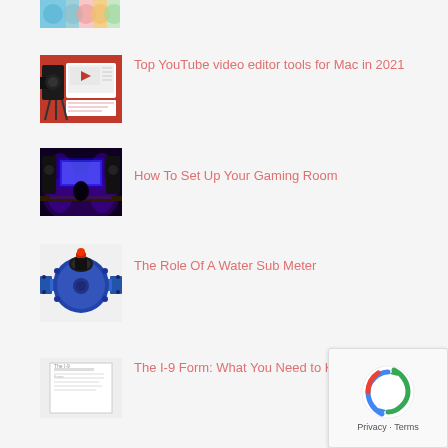[Figure (photo): Colorful yarn/macarons image, partially cut off at top]
Top YouTube video editor tools for Mac in 2021
How To Set Up Your Gaming Room
The Role Of A Water Sub Meter
The I-9 Form: What You Need to Know